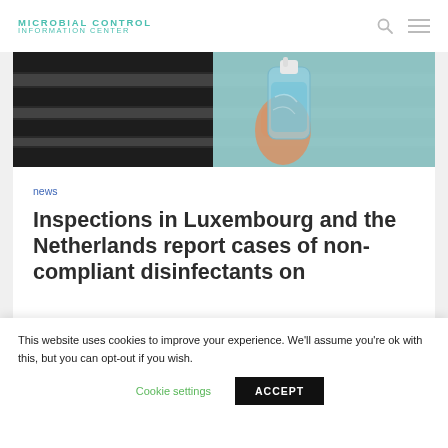MICROBIAL CONTROL INFORMATION CENTER
[Figure (photo): Person holding a clear blue bottle of hand sanitizer/disinfectant, wearing a black and white striped shirt, light blue background suggesting bathroom setting.]
news
Inspections in Luxembourg and the Netherlands report cases of non-compliant disinfectants on
This website uses cookies to improve your experience. We'll assume you're ok with this, but you can opt-out if you wish.
Cookie settings
ACCEPT